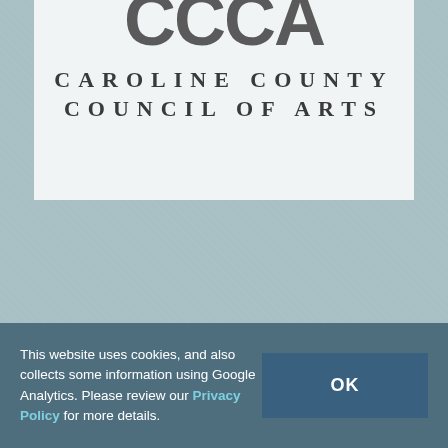[Figure (logo): Caroline County Council of Arts logo showing large letters 'CCCA' partially cropped at top, with text 'CAROLINE COUNTY COUNCIL OF ARTS' in spaced serif letters below, on a light background]
This website uses cookies, and also collects some information using Google Analytics. Please review our Privacy Policy for more details.